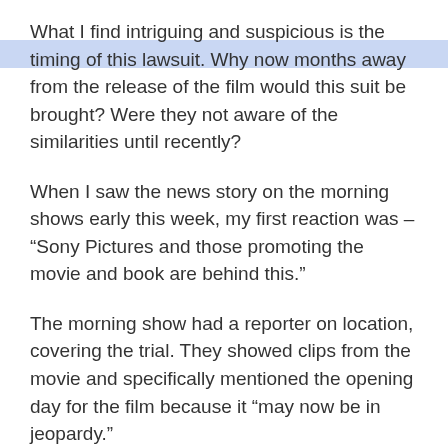What I find intriguing and suspicious is the timing of this lawsuit. Why now months away from the release of the film would this suit be brought? Were they not aware of the similarities until recently?
When I saw the news story on the morning shows early this week, my first reaction was – “Sony Pictures and those promoting the movie and book are behind this.”
The morning show had a reporter on location, covering the trial. They showed clips from the movie and specifically mentioned the opening day for the film because it “may now be in jeopardy.”
Sony could not pay for that kind of publicity. The trial is more valuable than ad they will run from